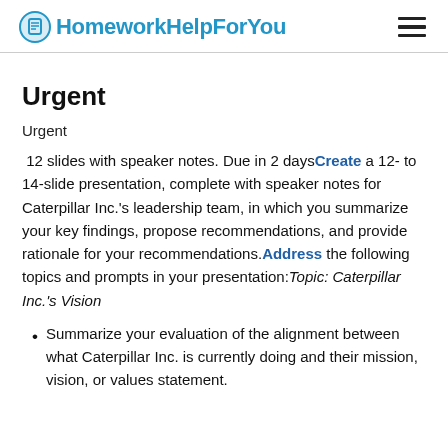HomeworkHelpForYou
Urgent
Urgent
12 slides with speaker notes. Due in 2 days Create a 12- to 14-slide presentation, complete with speaker notes for Caterpillar Inc.'s leadership team, in which you summarize your key findings, propose recommendations, and provide rationale for your recommendations. Address the following topics and prompts in your presentation: Topic: Caterpillar Inc.'s Vision
Summarize your evaluation of the alignment between what Caterpillar Inc. is currently doing and their mission, vision, or values statement.